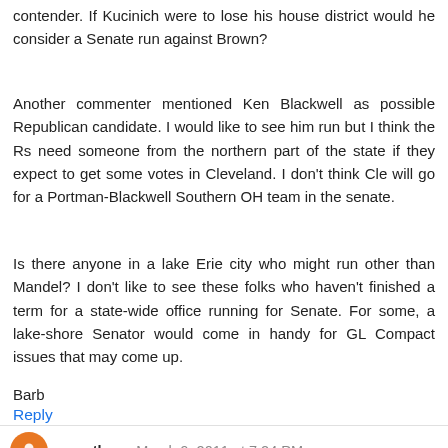contender. If Kucinich were to lose his house district would he consider a Senate run against Brown?
Another commenter mentioned Ken Blackwell as possible Republican candidate. I would like to see him run but I think the Rs need someone from the northern part of the state if they expect to get some votes in Cleveland. I don't think Cle will go for a Portman-Blackwell Southern OH team in the senate.
Is there anyone in a lake Erie city who might run other than Mandel? I don't like to see these folks who haven't finished a term for a state-wide office running for Senate. For some, a lake-shore Senator would come in handy for GL Compact issues that may come up.
Barb
Reply
marathaun March 9, 2011 at 7:24 PM